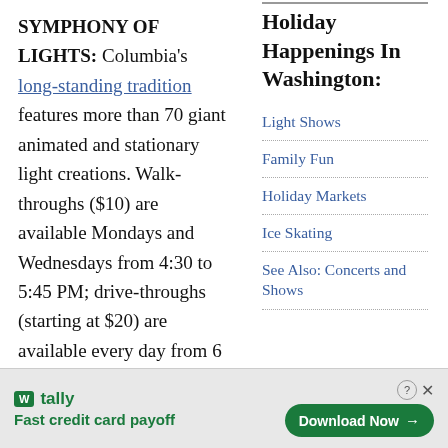SYMPHONY OF LIGHTS: Columbia's long-standing tradition features more than 70 giant animated and stationary light creations. Walk-throughs ($10) are available Mondays and Wednesdays from 4:30 to 5:45 PM; drive-throughs (starting at $20) are available every day from 6 to 10 PM
Holiday Happenings In Washington:
Light Shows
Family Fun
Holiday Markets
Ice Skating
See Also: Concerts and Shows
[Figure (other): Advertisement banner for Tally app — 'Fast credit card payoff' with a Download Now button]